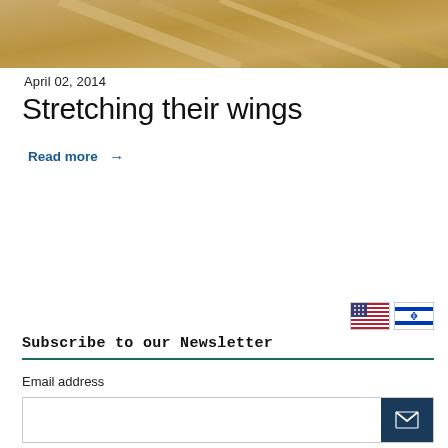[Figure (photo): Aerial or close-up photo of sandy/wooden surface with diagonal lines, warm golden/tan tones]
April 02, 2014
Stretching their wings
Read more →
[Figure (other): Two small flag icons: US flag and Israeli flag]
Subscribe to our Newsletter
Email address